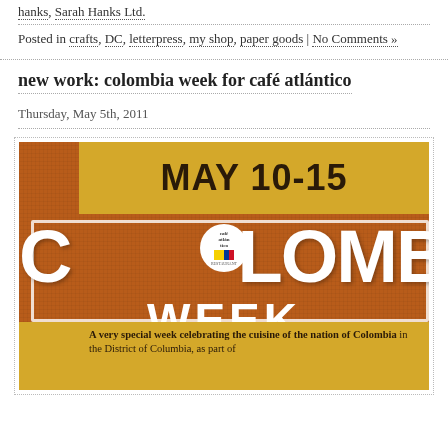hanks, Sarah Hanks Ltd.
Posted in crafts, DC, letterpress, my shop, paper goods | No Comments »
new work: colombia week for café atlántico
Thursday, May 5th, 2011
[Figure (illustration): Colombia Week event poster for Café Atlántico. Orange burlap-textured background. Yellow banner at top reading 'MAY 10-15'. Large white text reading 'COLOMBIA WEEK' with café atlántico logo circle in the center. Bottom yellow banner with text: 'A very special week celebrating the cuisine of the nation of Colombia in the District of Columbia, as part of']